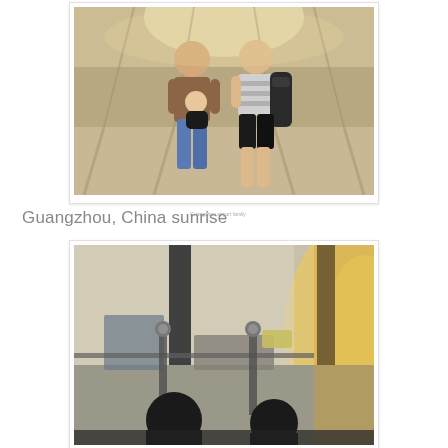[Figure (photo): Family photo in an airport or large building with glass ceiling. A man and a woman with a baby in a carrier are standing together smiling. The woman has a backpack. Sunlight streams through the glass roof.]
Guangzhou, China sunrise
[Figure (photo): Sunrise or sunset view through large airport windows showing aircraft outside on the tarmac. Two silhouetted figures (adults or children) are visible in the foreground looking out the window. Golden light floods in from the right side.]